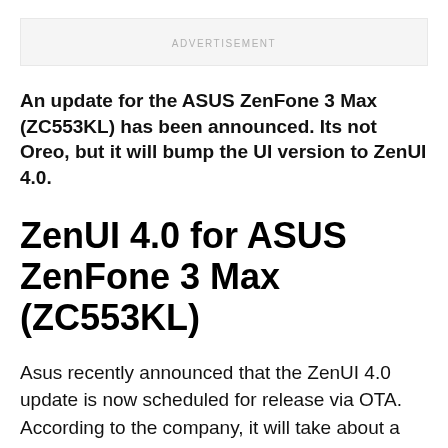ADVERTISEMENT
An update for the ASUS ZenFone 3 Max (ZC553KL) has been announced. Its not Oreo, but it will bump the UI version to ZenUI 4.0.
ZenUI 4.0 for ASUS ZenFone 3 Max  (ZC553KL)
Asus recently announced that the ZenUI 4.0 update is now scheduled for release via OTA. According to the company, it will take about a week to complete the autopush. For those who